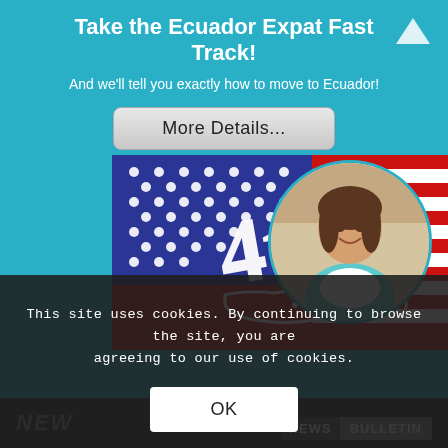Take the Ecuador Expat Fast Track!
And we'll tell you exactly how to move to Ecuador!
More Details...
[Figure (photo): 4th of July themed image with American flag background, white '4th' script text overlaid on US map shape in red and white stripes, plus circular portrait photo of smiling woman in upper right]
This site uses cookies. By continuing to browse the site, you are agreeing to our use of cookies.
OK
NEWS BULLETIN